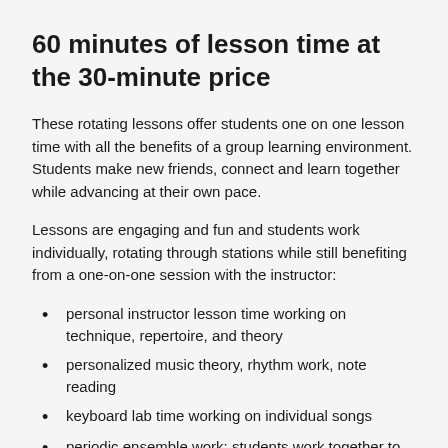60 minutes of lesson time at the 30-minute price
These rotating lessons offer students one on one lesson time with all the benefits of a group learning environment. Students make new friends, connect and learn together while advancing at their own pace.
Lessons are engaging and fun and students work individually, rotating through stations while still benefiting from a one-on-one session with the instructor:
personal instructor lesson time working on technique, repertoire, and theory
personalized music theory, rhythm work, note reading
keyboard lab time working on individual songs
periodic ensemble work: students work together to complete activities, theory games, and piano